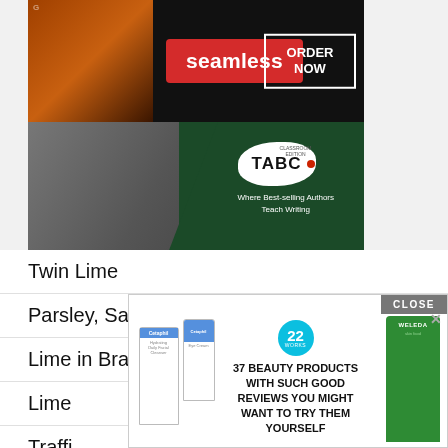[Figure (screenshot): Seamless food delivery advertisement banner with pizza image, seamless logo in red, and ORDER NOW button]
[Figure (screenshot): TABC Classroom Edition advertisement showing students with text 'Where Best-selling Authors Teach Writing']
Twin Lime
Parsley, Sage, Rosemary and Lime
Lime in Brazil
Lime
Traffi
[Figure (screenshot): Beauty product advertisement overlay showing Cetaphil bottles, Weleda product, 22 WORKS badge, and text '37 BEAUTY PRODUCTS WITH SUCH GOOD REVIEWS YOU MIGHT WANT TO TRY THEM YOURSELF' with CLOSE button]